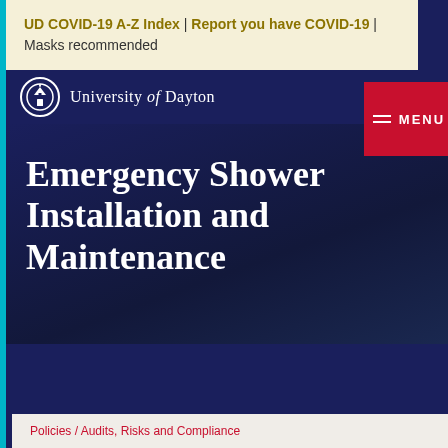UD COVID-19 A-Z Index | Report you have COVID-19 | Masks recommended
[Figure (logo): University of Dayton logo with dome icon and text]
Emergency Shower Installation and Maintenance
Policies / Audits, Risks and Compliance